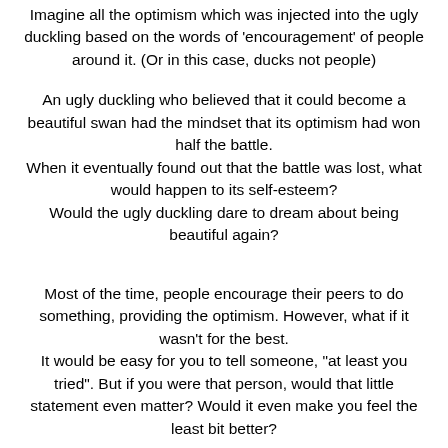Imagine all the optimism which was injected into the ugly duckling based on the words of 'encouragement' of people around it. (Or in this case, ducks not people)
An ugly duckling who believed that it could become a beautiful swan had the mindset that its optimism had won half the battle. When it eventually found out that the battle was lost, what would happen to its self-esteem? Would the ugly duckling dare to dream about being beautiful again?
Most of the time, people encourage their peers to do something, providing the optimism. However, what if it wasn't for the best. It would be easy for you to tell someone, "at least you tried". But if you were that person, would that little statement even matter? Would it even make you feel the least bit better?